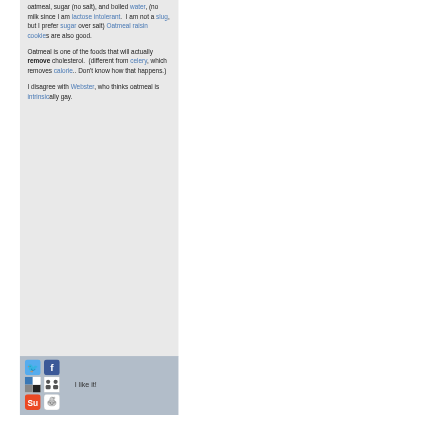oatmeal, sugar (no salt), and boiled water, (no milk since I am lactose intolerant.  I am not a slug, but I prefer sugar over salt) Oatmeal raisin cookies are also good.
Oatmeal is one of the foods that will actually remove cholesterol.  (different from celery, which removes calorie.. Don't know how that happens.)
I disagree with Webster, who thinks oatmeal is intrinsically gay.
[Figure (infographic): Social sharing bar with icons for Twitter, Facebook, a black/white tile icon, a grid/people icon, StumbleUpon, and Reddit Alien. Text 'I like it!' displayed to the right of the icons.]